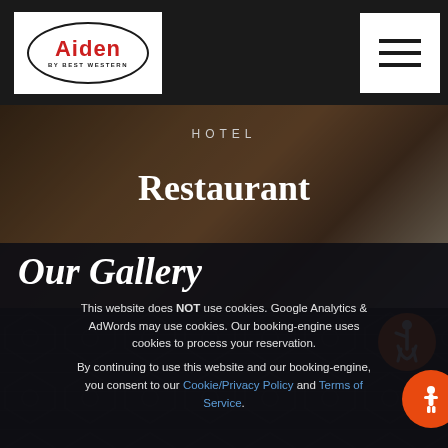Aiden by Best Western — Navigation bar with logo and hamburger menu
HOTEL
Restaurant
Our Gallery
This website does NOT use cookies. Google Analytics & AdWords may use cookies. Our booking-engine uses cookies to process your reservation.
By continuing to use this website and our booking-engine, you consent to our Cookie/Privacy Policy and Terms of Service.